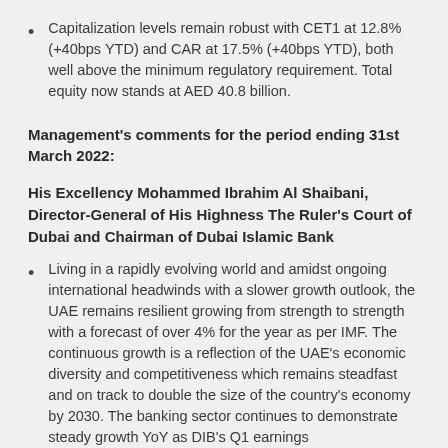Capitalization levels remain robust with CET1 at 12.8% (+40bps YTD) and CAR at 17.5% (+40bps YTD), both well above the minimum regulatory requirement. Total equity now stands at AED 40.8 billion.
Management's comments for the period ending 31st March 2022:
His Excellency Mohammed Ibrahim Al Shaibani, Director-General of His Highness The Ruler's Court of Dubai and Chairman of Dubai Islamic Bank
Living in a rapidly evolving world and amidst ongoing international headwinds with a slower growth outlook, the UAE remains resilient growing from strength to strength with a forecast of over 4% for the year as per IMF. The continuous growth is a reflection of the UAE's economic diversity and competitiveness which remains steadfast and on track to double the size of the country's economy by 2030. The banking sector continues to demonstrate steady growth YoY as DIB's Q1 earnings